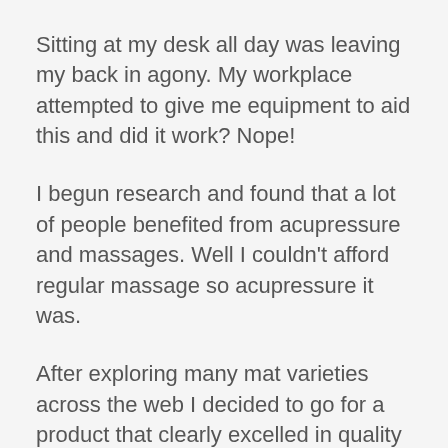Sitting at my desk all day was leaving my back in agony. My workplace attempted to give me equipment to aid this and did it work? Nope!
I begun research and found that a lot of people benefited from acupressure and massages. Well I couldn't afford regular massage so acupressure it was.
After exploring many mat varieties across the web I decided to go for a product that clearly excelled in quality and was ethically brilliant too.
So, I placed my order, a pink pearl set and I haven't looked back... my aches and pains - relieved, instant relief.
My set has eased my pain, help me sleep, calm